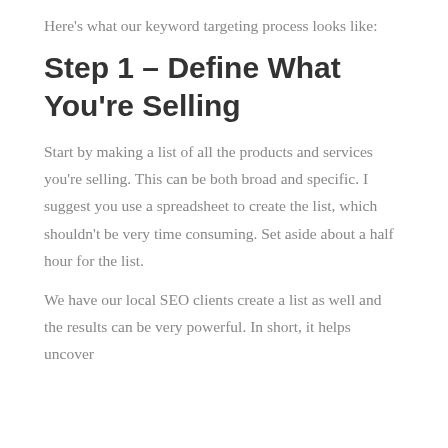Here's what our keyword targeting process looks like:
Step 1 – Define What You're Selling
Start by making a list of all the products and services you're selling. This can be both broad and specific. I suggest you use a spreadsheet to create the list, which shouldn't be very time consuming. Set aside about a half hour for the list.
We have our local SEO clients create a list as well and the results can be very powerful. In short, it helps uncover